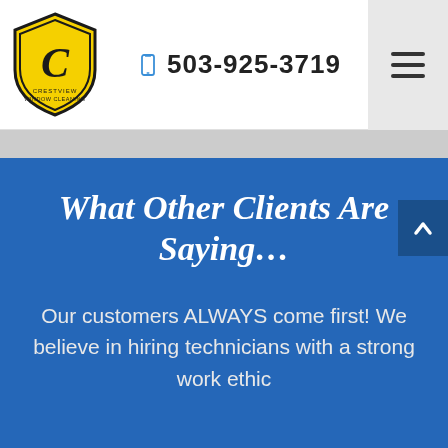[Figure (logo): Crestview Window Cleaning shield logo with yellow background and black C monogram]
503-925-3719
What Other Clients Are Saying...
Our customers ALWAYS come first! We believe in hiring technicians with a strong work ethic